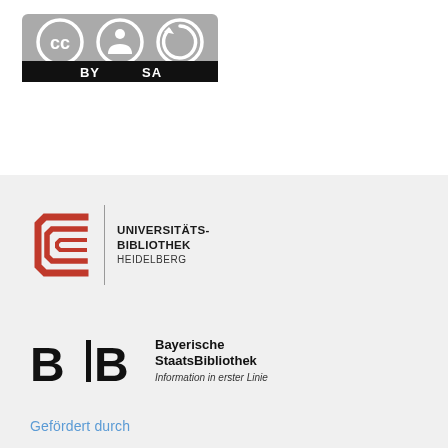[Figure (logo): Creative Commons BY-SA license logo with CC, person icon, and refresh icon symbols, with 'BY SA' text on black bar]
[Figure (logo): Universitätsbibliothek Heidelberg logo with red angular book-like icon, vertical divider, and bold text UNIVERSITÄTS-BIBLIOTHEK HEIDELBERG]
[Figure (logo): Bayerische Staatsbibliothek logo with BSB letters and text 'Bayerische StaatsBibliothek Information in erster Linie']
Gefördert durch